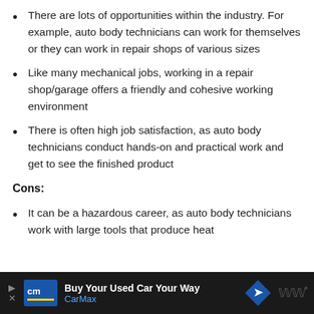There are lots of opportunities within the industry. For example, auto body technicians can work for themselves or they can work in repair shops of various sizes
Like many mechanical jobs, working in a repair shop/garage offers a friendly and cohesive working environment
There is often high job satisfaction, as auto body technicians conduct hands-on and practical work and get to see the finished product
Cons:
It can be a hazardous career, as auto body technicians work with large tools that produce heat
[Figure (other): Advertisement banner: CarMax 'Buy Your Used Car Your Way' with blue logo and navigation icon]